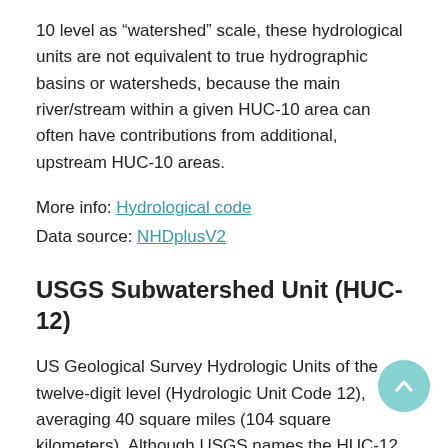10 level as “watershed” scale, these hydrological units are not equivalent to true hydrographic basins or watersheds, because the main river/stream within a given HUC-10 area can often have contributions from additional, upstream HUC-10 areas.
More info: Hydrological code
Data source: NHDplusV2
USGS Subwatershed Unit (HUC-12)
US Geological Survey Hydrologic Units of the twelve-digit level (Hydrologic Unit Code 12), averaging 40 square miles (104 square kilometers). Although USGS names the HUC-12 level as “subwatershed” scale, these hydrological units are not equivalent to true hydrographic basins or watersheds, because the main river/stream within a given